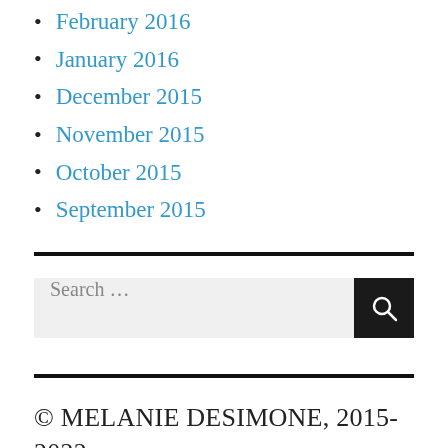February 2016
January 2016
December 2015
November 2015
October 2015
September 2015
Search …
© MELANIE DESIMONE, 2015-2022